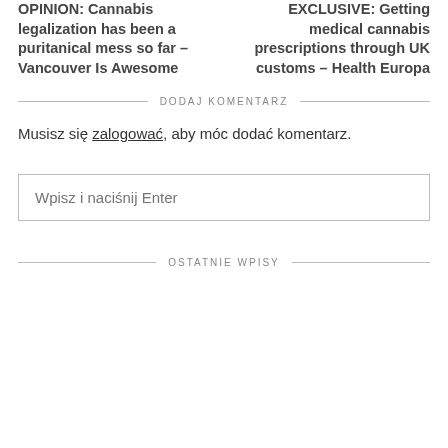OPINION: Cannabis legalization has been a puritanical mess so far – Vancouver Is Awesome
EXCLUSIVE: Getting medical cannabis prescriptions through UK customs – Health Europa
DODAJ KOMENTARZ
Musisz się zalogować, aby móc dodać komentarz.
Wpisz i naciśnij Enter
OSTATNIE WPISY